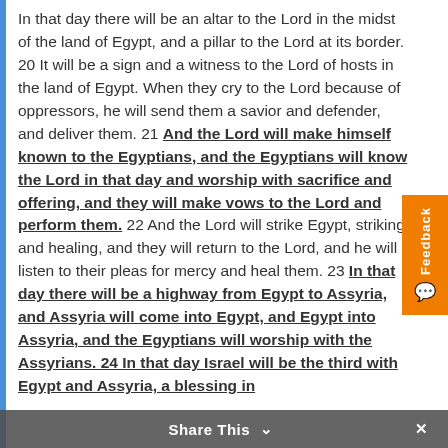In that day there will be an altar to the Lord in the midst of the land of Egypt, and a pillar to the Lord at its border. 20 It will be a sign and a witness to the Lord of hosts in the land of Egypt. When they cry to the Lord because of oppressors, he will send them a savior and defender, and deliver them. 21 And the Lord will make himself known to the Egyptians, and the Egyptians will know the Lord in that day and worship with sacrifice and offering, and they will make vows to the Lord and perform them. 22 And the Lord will strike Egypt, striking and healing, and they will return to the Lord, and he will listen to their pleas for mercy and heal them. 23 In that day there will be a highway from Egypt to Assyria, and Assyria will come into Egypt, and Egypt into Assyria, and the Egyptians will worship with the Assyrians. 24 In that day Israel will be the third with Egypt and Assyria, a blessing in